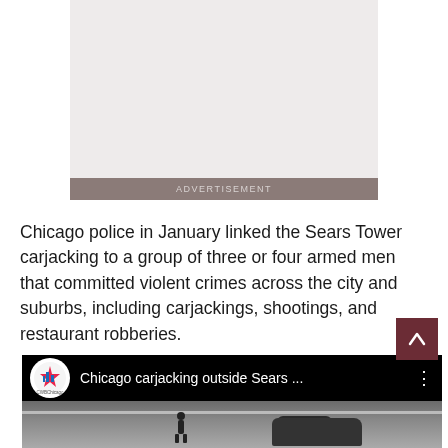[Figure (other): Advertisement placeholder box with gray background and 'ADVERTISEMENT' label bar]
Chicago police in January linked the Sears Tower carjacking to a group of three or four armed men that committed violent crimes across the city and suburbs, including carjackings, shootings, and restaurant robberies.
[Figure (screenshot): YouTube video player showing 'Chicago carjacking outside Sears ...' with CWBChicago channel icon, black header bar, and video thumbnail showing a road and car silhouette]